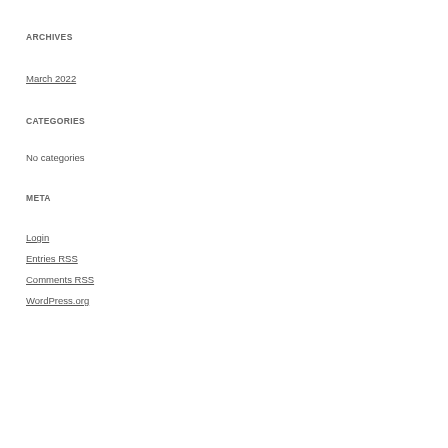ARCHIVES
March 2022
CATEGORIES
No categories
META
Login
Entries RSS
Comments RSS
WordPress.org